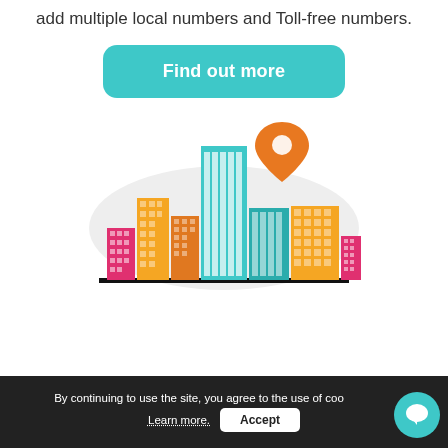add multiple local numbers and Toll-free numbers.
[Figure (illustration): Teal rounded rectangle button with white bold text 'Find out more']
[Figure (illustration): Colorful city skyline illustration with buildings in teal, orange, yellow, red/pink colors on a light gray cloud-shaped background, with an orange map pin marker on top of the tallest teal building]
By continuing to use the site, you agree to the use of coo... Learn more. [Accept]